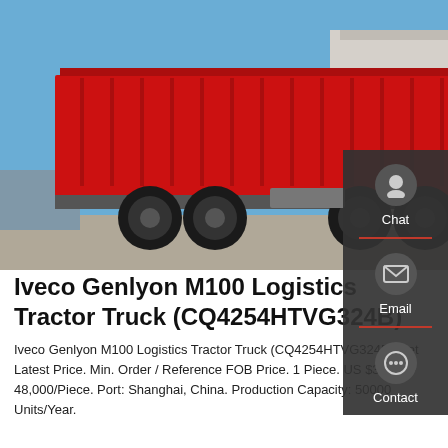[Figure (photo): A red SITRAK dump truck parked at an outdoor industrial yard with a blue sky background and a warehouse building visible on the right.]
Iveco Genlyon M100 Logistics Tractor Truck (CQ4254HTVG324B)
Iveco Genlyon M100 Logistics Tractor Truck (CQ4254HTVG324B) Get Latest Price. Min. Order / Reference FOB Price. 1 Piece. US $38,000-48,000/Piece. Port: Shanghai, China. Production Capacity: 50000 Units/Year.